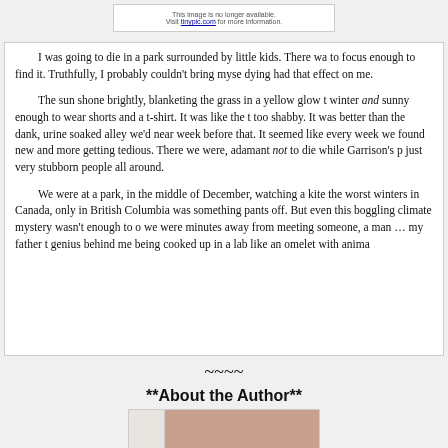[Figure (other): Image placeholder box with text: 'This image is no longer available. Visit tinypic.com for more information.']
I was going to die in a park surrounded by little kids. There wa to focus enough to find it. Truthfully, I probably couldn't bring myse dying had that effect on me.

The sun shone brightly, blanketing the grass in a yellow glow t winter and sunny enough to wear shorts and a t-shirt. It was like the t too shabby. It was better than the dank, urine soaked alley we'd near week before that. It seemed like every week we found new and more getting tedious. There we were, adamant not to die while Garrison's p just very stubborn people all around.

We were at a park, in the middle of December, watching a kite the worst winters in Canada, only in British Columbia was something pants off. But even this boggling climate mystery wasn't enough to o we were minutes away from meeting someone, a man … my father t genius behind me being cooked up in a lab like an omelet with anima
~~~~
**About the Author**
[Figure (photo): Author photo thumbnail — white left side and brownish-red right side visible]